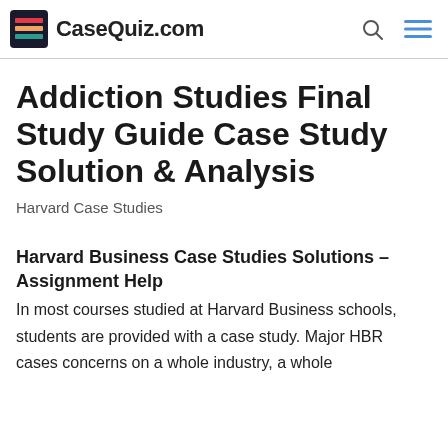CaseQuiz.com
Addiction Studies Final Study Guide Case Study Solution & Analysis
Harvard Case Studies
Harvard Business Case Studies Solutions – Assignment Help
In most courses studied at Harvard Business schools, students are provided with a case study. Major HBR cases concerns on a whole industry, a whole